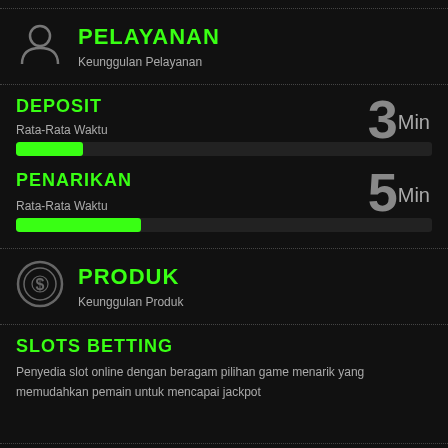[Figure (illustration): User/person silhouette icon in grey]
PELAYANAN
Keunggulan Pelayanan
DEPOSIT
Rata-Rata Waktu
3 Min
[Figure (infographic): Green progress bar approximately 16% filled for DEPOSIT]
PENARIKAN
Rata-Rata Waktu
5 Min
[Figure (infographic): Green progress bar approximately 30% filled for PENARIKAN]
[Figure (illustration): Casino chip / coin icon with dollar sign in grey]
PRODUK
Keunggulan Produk
SLOTS BETTING
Penyedia slot online dengan beragam pilihan game menarik yang memudahkan pemain untuk mencapai jackpot